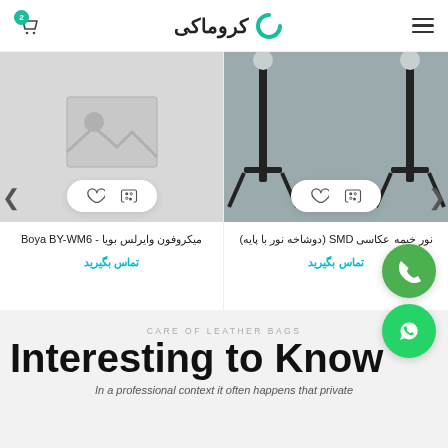کروماکی (Chromakey) logo and navigation header with cart icon and hamburger menu
[Figure (photo): Left product card: placeholder image (grey image placeholder with mountain/sun icon). Product title: میکروفون وایرلس بویا Boya BY-WM6. Contact link: تماس بگیرید]
[Figure (photo): Right product card: photograph of SMD photography tent light (نور خیمه عکاسی SMD) with two stands on grey background. Product title: نور خیمه عکاسی SMD (دوشاخه نور با پایه). Contact link: تماس بگیرید]
CARE OF LEATHER BAGS
Interesting to Know
In a professional context it often happens that private